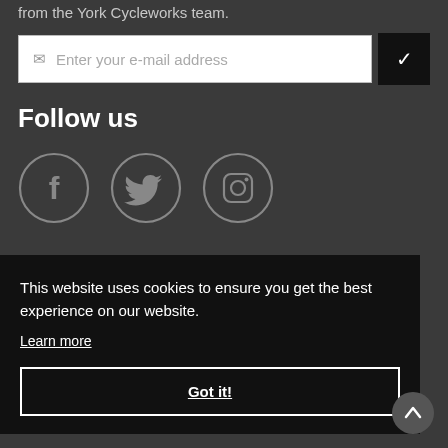from the York Cycleworks team.
[Figure (screenshot): Email input field with envelope icon and placeholder text 'Enter your e-mail address', and a dark submit button with a checkmark]
Follow us
[Figure (illustration): Three circular social media icons: Facebook (f), Twitter (bird), Instagram (camera)]
This website uses cookies to ensure you get the best experience on our website.
Learn more
Got it!